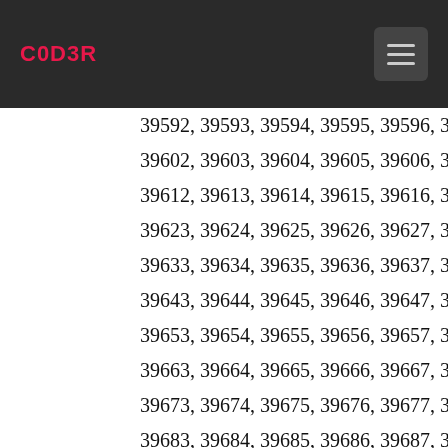C0D3R
39592, 39593, 39594, 39595, 39596, 39597, 3959...
39602, 39603, 39604, 39605, 39606, 39607, 396...
39612, 39613, 39614, 39615, 39616, 39617, 39618, 3...
39623, 39624, 39625, 39626, 39627, 39628, 3962...
39633, 39634, 39635, 39636, 39637, 39638, 3963...
39643, 39644, 39645, 39646, 39647, 39648, 3964...
39653, 39654, 39655, 39656, 39657, 39658, 3965...
39663, 39664, 39665, 39666, 39667, 39668, 3966...
39673, 39674, 39675, 39676, 39677, 39678, 3967...
39683, 39684, 39685, 39686, 39687, 39688, 396...
39693, 39694, 39695, 39696, 39697, 39698, 3969...
39703, 39704, 39705, 39706, 39707, 39708, 397...
39713, 39714, 39715, 39716, 39717, 39718, 39719, 3...
39724, 39725, 39726, 39727, 39728, 39729, 3973...
39734, 39735, 39736, 39737, 39738, 39739, 3974...
39744, 39745, 39746, 39747, 39748, 39749, 39750...